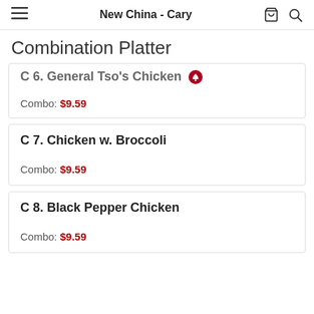New China - Cary
Combination Platter
C 6. General Tso's Chicken — Combo: $9.59
C 7. Chicken w. Broccoli — Combo: $9.59
C 8. Black Pepper Chicken — Combo: $9.59